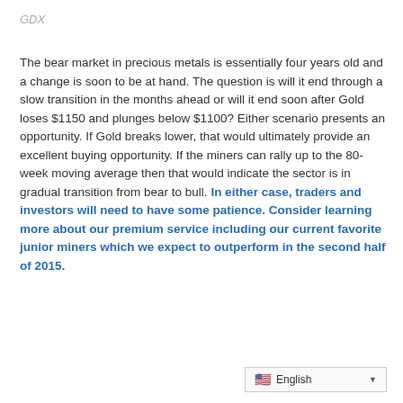GDX
The bear market in precious metals is essentially four years old and a change is soon to be at hand. The question is will it end through a slow transition in the months ahead or will it end soon after Gold loses $1150 and plunges below $1100? Either scenario presents an opportunity. If Gold breaks lower, that would ultimately provide an excellent buying opportunity. If the miners can rally up to the 80-week moving average then that would indicate the sector is in gradual transition from bear to bull. In either case, traders and investors will need to have some patience. Consider learning more about our premium service including our current favorite junior miners which we expect to outperform in the second half of 2015.